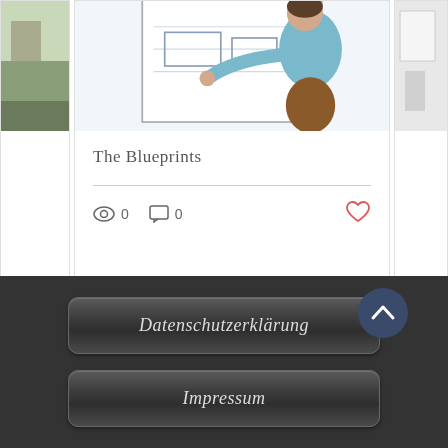[Figure (screenshot): Blog post card showing a person in a light blue sweater working on blueprints/drawings at a board, with title 'The Blueprints', view count 0, comment count 0, and a heart/like button]
The Blueprints
[Figure (infographic): Three pagination dots, first dot filled/active blue, two grey dots]
[Figure (screenshot): Dark footer section with two styled buttons: 'Datenschutzerklärung' and 'Impressum', and a back-to-top arrow button]